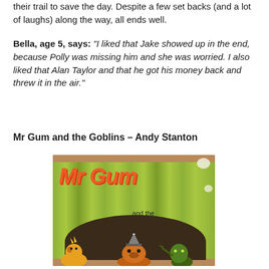their trail to save the day. Despite a few set backs (and a lot of laughs) along the way, all ends well.
Bella, age 5, says: "I liked that Jake showed up in the end, because Polly was missing him and she was worried. I also liked that Alan Taylor and that he got his money back and threw it in the air."
Mr Gum and the Goblins – Andy Stanton
[Figure (photo): Photo of the book 'Mr Gum and the Goblins' by Andy Stanton, showing its yellow/green striped cover with cartoon goblins and the title in pink lettering.]